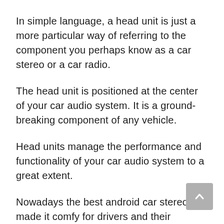In simple language, a head unit is just a more particular way of referring to the component you perhaps know as a car stereo or a car radio.
The head unit is positioned at the center of your car audio system. It is a ground-breaking component of any vehicle.
Head units manage the performance and functionality of your car audio system to a great extent.
Nowadays the best android car stereo has made it comfy for drivers and their passengers to experience excellent entertainment as they travel along.